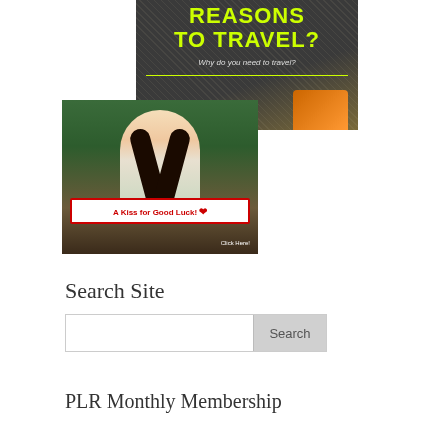[Figure (illustration): Travel promotional banner with dark background, yellow-green text reading 'REASONS TO TRAVEL?' and subtitle 'Why do you need to travel?', a yellow-green horizontal line, cursive 'Click' text, and an orange element in the bottom right.]
[Figure (photo): Photo of a woman making a kiss face, wearing jewelry, holding a sign that reads 'A Kiss for Good Luck!' with a red heart. Text 'Click Here!' appears in the bottom right corner.]
Search Site
PLR Monthly Membership